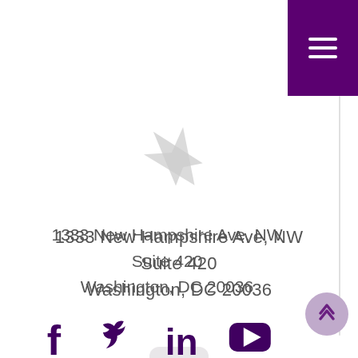[Figure (illustration): Purple hamburger menu button in top-right corner]
[Figure (illustration): Light gray navigation/location arrow icon]
1333 New Hampshire Ave, NW
Suite 420
Washington, DC 20036
[Figure (illustration): Light gray mail/envelope icon with rounded rectangle background]
admin@reaganudall.org
[Figure (illustration): Social media icons: Facebook, Twitter, LinkedIn, YouTube at bottom]
[Figure (illustration): Light purple circle scroll-to-top button with up chevron]